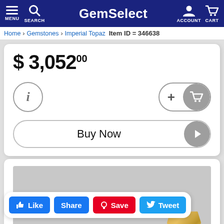GemSelect — MENU | SEARCH | ACCOUNT | CART
Home > Gemstones > Imperial Topaz — Item ID = 346638
$ 3,052.00
[Figure (screenshot): Add to cart button with plus sign and shopping cart icon]
[Figure (screenshot): Buy Now button with play arrow icon]
[Figure (photo): Gray placeholder image with gem partially visible at bottom right]
[Figure (screenshot): Social sharing bar with Like, Share, Save, Tweet buttons]